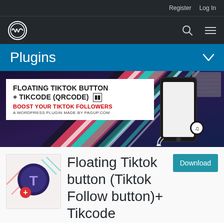Register  Log In
[Figure (logo): WordPress logo circle icon in white on dark background, with search icon and hamburger menu icon]
Plugins
[Figure (screenshot): Plugin banner with dark purple background and diagonal colored stripes (teal, red, white). White card reads: FLOATING TIKTOK BUTTON + TIKCODE (QRCODE) [QR icon] / BOOST YOUR TIKTOK FOLLOWERS / A WORDPRESS PLUGIN MADE BY PAGUP.COM. Right side shows a smartphone with TikTok icon and earbuds with keyboard in background.]
[Figure (screenshot): Plugin icon: dark circular background with letter T in purple circle and red plus button]
Floating Tiktok button (Tiktok Follow button)+ Tikcode